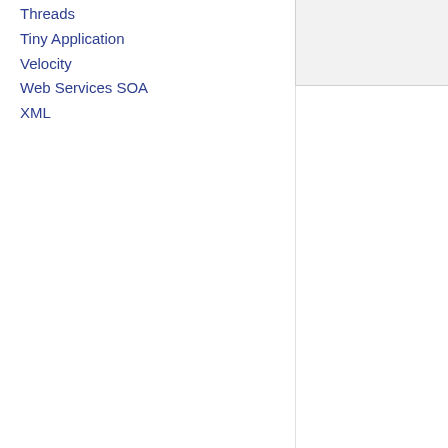Threads
Tiny Application
Velocity
Web Services SOA
XML